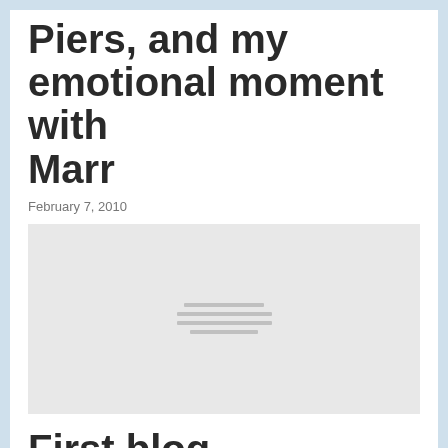Piers, and my emotional moment with Marr
February 7, 2010
[Figure (photo): Placeholder image with loading indicator lines]
First blog